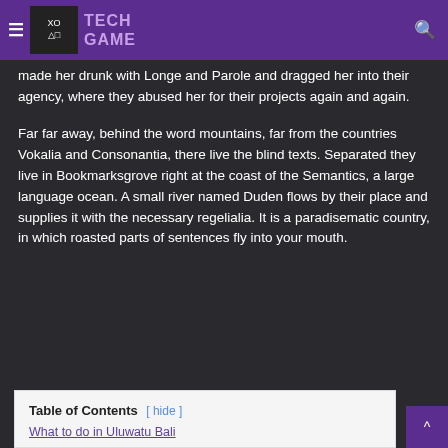TECH GAME
made her drunk with Longe and Parole and dragged her into their agency, where they abused her for their projects again and again.
Far far away, behind the word mountains, far from the countries Vokalia and Consonantia, there live the blind texts. Separated they live in Bookmarksgrove right at the coast of the Semantics, a large language ocean. A small river named Duden flows by their place and supplies it with the necessary regelialia. It is a paradisematic country, in which roasted parts of sentences fly into your mouth.
| Table of Contents |
| --- |
| What to do in Uluwatu Bali |